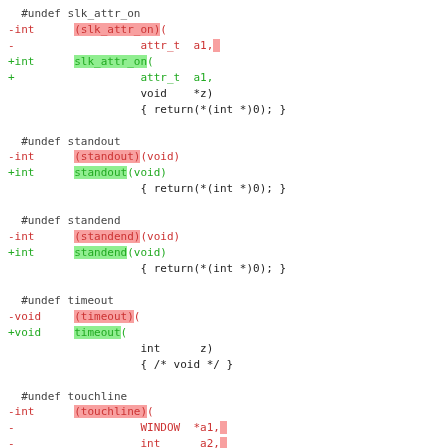Code diff showing changes for slk_attr_on, standout, standend, timeout, and touchline functions
[Figure (screenshot): Source code diff showing function signature changes with red (removed) and green (added) lines for multiple C functions including slk_attr_on, standout, standend, timeout, and touchline]